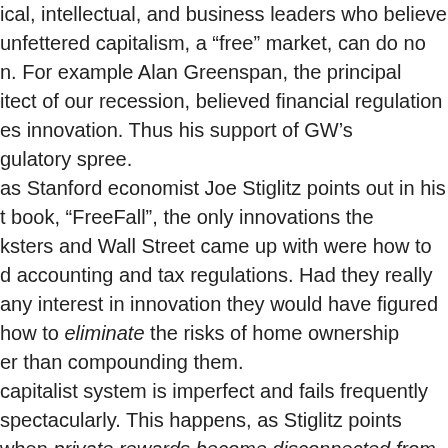ical, intellectual, and business leaders who believe unfettered capitalism, a “free” market, can do no n. For example Alan Greenspan, the principal itect of our recession, believed financial regulation es innovation. Thus his support of GW’s gulatory spree. as Stanford economist Joe Stiglitz points out in his t book, “FreeFall”, the only innovations the ksters and Wall Street came up with were how to d accounting and tax regulations. Had they really any interest in innovation they would have figured how to eliminate the risks of home ownership er than compounding them. capitalist system is imperfect and fails frequently spectacularly. This happens, as Stiglitz points when private rewards become disconnected from lic benefit. There will probably always be the type business” person who chortles at raking in profits e providing absolutely nothing of material value in